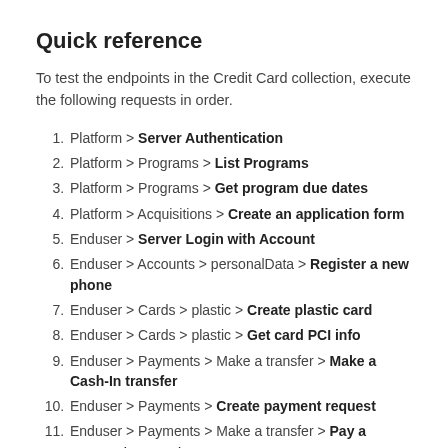Quick reference
To test the endpoints in the Credit Card collection, execute the following requests in order.
Platform > Server Authentication
Platform > Programs > List Programs
Platform > Programs > Get program due dates
Platform > Acquisitions > Create an application form
Enduser > Server Login with Account
Enduser > Accounts > personalData > Register a new phone
Enduser > Cards > plastic > Create plastic card
Enduser > Cards > plastic > Get card PCI info
Enduser > Payments > Make a transfer > Make a Cash-In transfer
Enduser > Payments > Create payment request
Enduser > Payments > Make a transfer > Pay a payment request